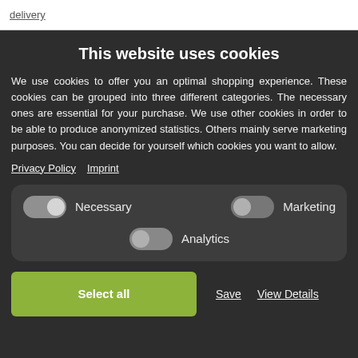delivery
This website uses cookies
We use cookies to offer you an optimal shopping experience. These cookies can be grouped into three different categories. The necessary ones are essential for your purchase. We use other cookies in order to be able to produce anonymized statistics. Others mainly serve marketing purposes. You can decide for yourself which cookies you want to allow.
Privacy Policy   Imprint
[Figure (infographic): Cookie consent toggle controls showing three toggles: Necessary (on, right position), Marketing (off, left position), and Analytics (off, left position)]
Select all   Save   View Details